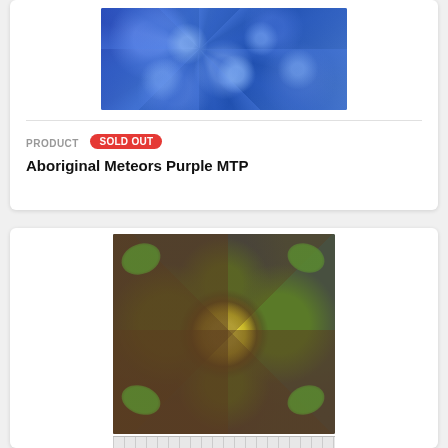[Figure (photo): Close-up photo of blue Aboriginal fabric with swirling pattern and circular motifs in purple and blue tones]
PRODUCT  SOLD OUT
Aboriginal Meteors Purple MTP
[Figure (photo): Aboriginal dot art fabric showing a circular mandala design with green leaves, brown branches, and a yellow-green center circle, with dotted pattern background in dark green, brown, and grey]